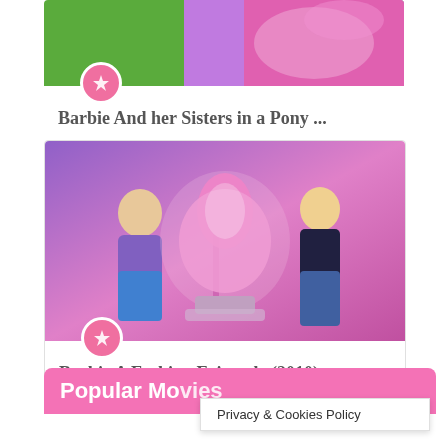[Figure (screenshot): Cropped image of Barbie and her Sisters in a Pony tale - showing colorful animated scene with pink/purple pony]
Barbie And her Sisters in a Pony ...
[Figure (screenshot): Animated scene from Barbie A Fashion Fairytale (2010) showing two Barbie characters with a glowing pink dress on a mannequin]
Barbie A Fashion Fairytale (2010)
Popular Movies
Privacy & Cookies Policy